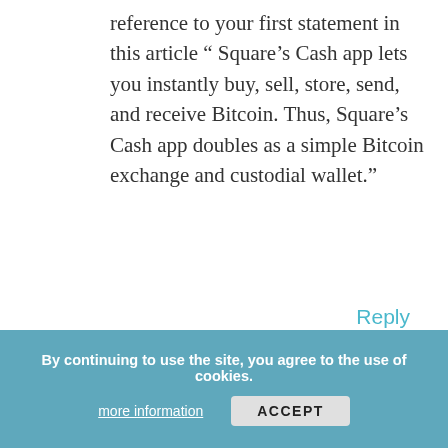reference to your first statement in this article " Square's Cash app lets you instantly buy, sell, store, send, and receive Bitcoin. Thus, Square's Cash app doubles as a simple Bitcoin exchange and custodial wallet."
Reply
[Figure (photo): Profile photo of a young man wearing glasses and a striped shirt, standing outdoors]
Thomas DeMichele on July 15, 2019
I wrote this back when Square first started with Bitcoin, before you were able to send and